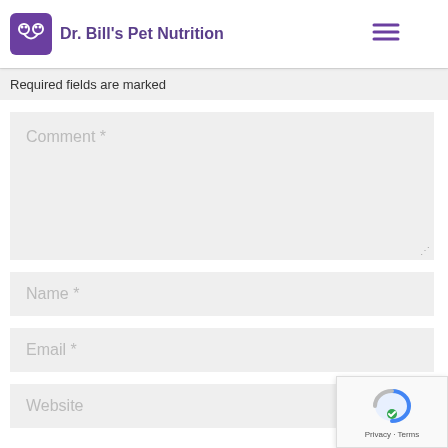Dr. Bill's Pet Nutrition
Required fields are marked
Comment *
Name *
Email *
Website